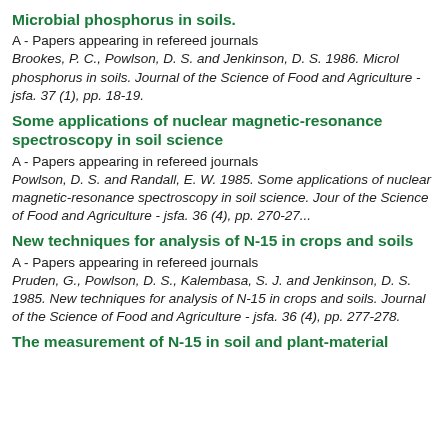Microbial phosphorus in soils.
A - Papers appearing in refereed journals
Brookes, P. C., Powlson, D. S. and Jenkinson, D. S. 1986. Microbial phosphorus in soils. Journal of the Science of Food and Agriculture - jsfa. 37 (1), pp. 18-19.
Some applications of nuclear magnetic-resonance spectroscopy in soil science
A - Papers appearing in refereed journals
Powlson, D. S. and Randall, E. W. 1985. Some applications of nuclear magnetic-resonance spectroscopy in soil science. Journal of the Science of Food and Agriculture - jsfa. 36 (4), pp. 270-27...
New techniques for analysis of N-15 in crops and soils
A - Papers appearing in refereed journals
Pruden, G., Powlson, D. S., Kalembasa, S. J. and Jenkinson, D. S. 1985. New techniques for analysis of N-15 in crops and soils. Journal of the Science of Food and Agriculture - jsfa. 36 (4), pp. 277-278.
The measurement of N-15 in soil and plant-material